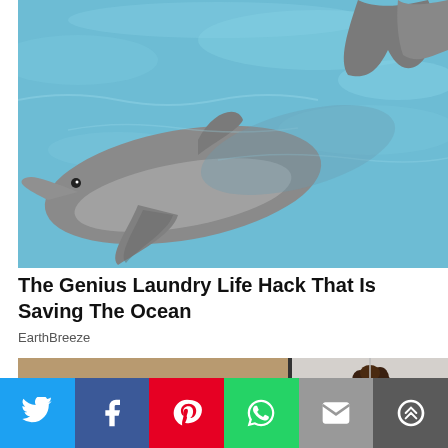[Figure (photo): Two dolphins swimming in clear blue water, viewed from above. One dolphin faces left with its fins visible, another dolphin's tail fin appears at top right.]
The Genius Laundry Life Hack That Is Saving The Ocean
EarthBreeze
[Figure (photo): Partial preview strip showing two thumbnail images side by side — left shows an outdoor sandy scene with objects, right shows a person with curly hair against a light background.]
[Figure (infographic): Social media share bar with six buttons: Twitter (blue bird icon), Facebook (blue f icon), Pinterest (red P icon), WhatsApp (green phone icon), Email (grey envelope icon), More (grey circular arrows icon).]